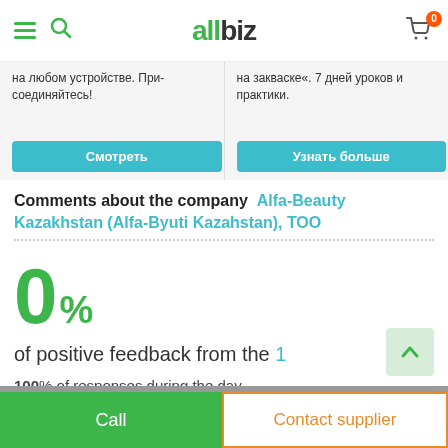[Figure (screenshot): allbiz website navigation bar with hamburger menu, search icon, allbiz logo, and shopping cart with badge showing 0]
на любом устройстве. При-соединяйтесь!
на закваске«. 7 дней уроков и практики.
Смотреть
Узнать больше
Comments about the company  Alfa-Beauty Kazakhstan (Alfa-Byuti Kazahstan), ТОО
0% of positive feedback from the 1
100% of responses during the day
Call
Contact supplier